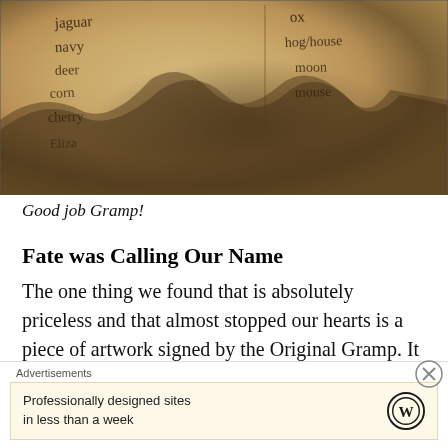[Figure (photo): Old weathered paper or document on the floor of a schoolhouse, with handwritten cursive words visible including 'jaguar', 'navy', 'deer', 'corn', 'cherry', 'ox', 'hog/house', 'moon', 'mouse'. The paper is aged, brownish, and partially damaged.]
Good job Gramp!
Fate was Calling Our Name
The one thing we found that is absolutely priceless and that almost stopped our hearts is a piece of artwork signed by the Original Gramp. It survived on the floor of the school house since the 1940's! We found every little
Advertisements
Professionally designed sites in less than a week